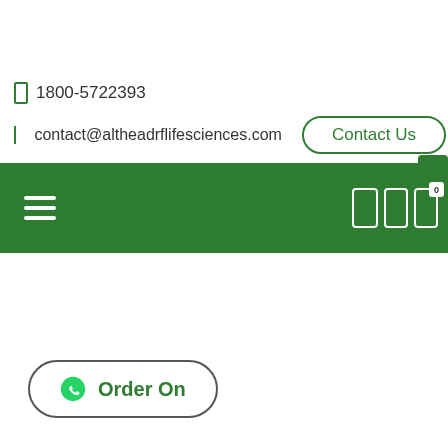1800-5722393
contact@altheadrflifesciences.com
Contact Us
[Figure (screenshot): Green navigation bar with hamburger menu icon on left and phone/user/cart icons on right]
Order On